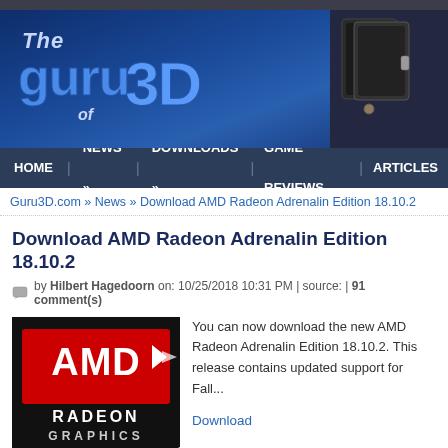[Figure (logo): The Guru of 3D website banner logo with blue gradient background]
[Figure (photo): Black leather wallet/case product photo on right side of banner]
HOME | NEWS » | DOWNLOADS » | GAME REVIEWS | ARTICLES
Guru3D.com » News » Download AMD Radeon Adrenalin Edition 18.10.2
Download AMD Radeon Adrenalin Edition 18.10.2
by Hilbert Hagedoorn on: 10/25/2018 10:31 PM | source: | 91 comment(s)
[Figure (logo): AMD Radeon Graphics logo - black background with red AMD logo and white text]
You can now download the new AMD Radeon Adrenalin Edition 18.10.2. This release contains updated support for Fall... Download